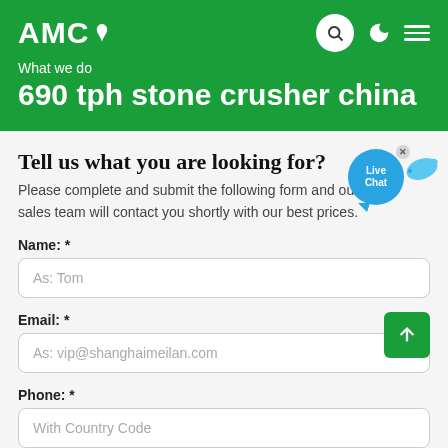AMC – What we do
690 tph stone crusher china
Tell us what you are looking for?
Please complete and submit the following form and our sales team will contact you shortly with our best prices.
Name: *
As: Tom
Email: *
As: vip@shanghaimeilan.com
Phone: *
With Country Code